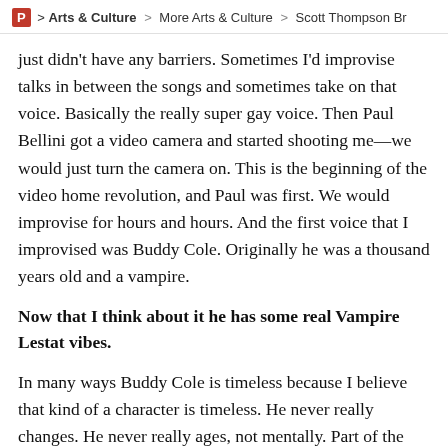P > Arts & Culture > More Arts & Culture > Scott Thompson Br
just didn't have any barriers. Sometimes I'd improvise talks in between the songs and sometimes take on that voice. Basically the really super gay voice. Then Paul Bellini got a video camera and started shooting me—we would just turn the camera on. This is the beginning of the video home revolution, and Paul was first. We would improvise for hours and hours. And the first voice that I improvised was Buddy Cole. Originally he was a thousand years old and a vampire.
Now that I think about it he has some real Vampire Lestat vibes.
In many ways Buddy Cole is timeless because I believe that kind of a character is timeless. He never really changes. He never really ages, not mentally. Part of the premise of the show is it's over the last 25 years from the end of the Kids in the Hall until now. The premise was